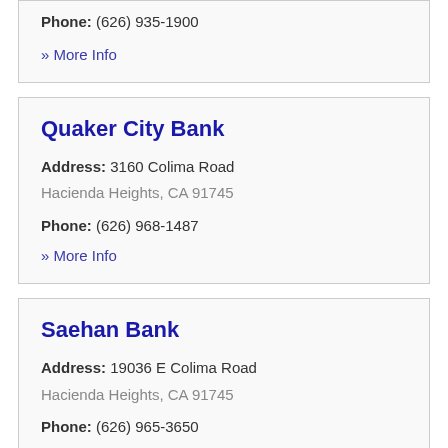Phone: (626) 935-1900
» More Info
Quaker City Bank
Address: 3160 Colima Road Hacienda Heights, CA 91745
Phone: (626) 968-1487
» More Info
Saehan Bank
Address: 19036 E Colima Road Hacienda Heights, CA 91745
Phone: (626) 965-3650
» More Info